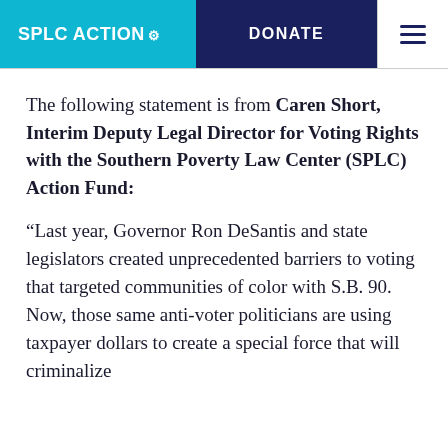SPLC ACTION | DONATE
The following statement is from Caren Short, Interim Deputy Legal Director for Voting Rights with the Southern Poverty Law Center (SPLC) Action Fund:
“Last year, Governor Ron DeSantis and state legislators created unprecedented barriers to voting that targeted communities of color with S.B. 90. Now, those same anti-voter politicians are using taxpayer dollars to create a special force that will criminalize